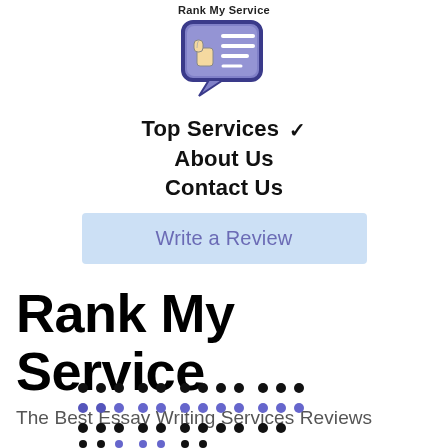[Figure (logo): Rank My Service logo: speech bubble with thumbs up icon, dark blue/purple border, labeled 'Rank My Service' above]
Top Services ✓
About Us
Contact Us
Write a Review
Rank My Service
The Best Essay Writing Services Reviews
[Figure (illustration): Decorative dot pattern grid: rows of black and blue/purple dots at the bottom of the page]